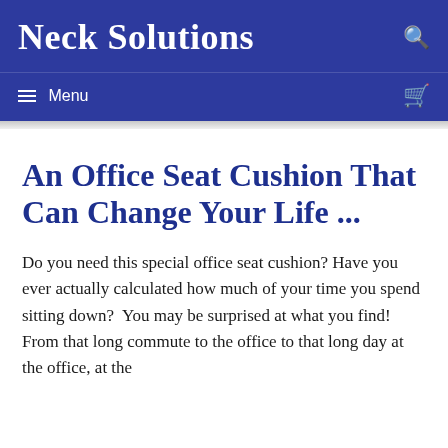Neck Solutions
An Office Seat Cushion That Can Change Your Life ...
Do you need this special office seat cushion? Have you ever actually calculated how much of your time you spend sitting down?  You may be surprised at what you find!  From that long commute to the office to that long day at the office, at the